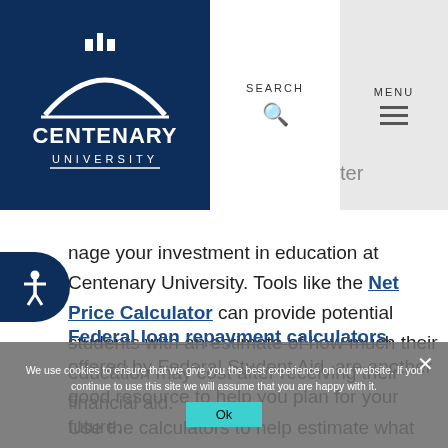[Figure (logo): Centenary University logo — white arch and building icon on dark navy background with text CENTENARY UNIVERSITY]
SEARCH
MENU
nage your investment in education at Centenary University. Tools like the Net Price Calculator can provide potential students with an estimate of how much their education may cost after receiving their financial aid.
Federal loan repayment calculators, offered by Federal Student Aid, are another good resource to help you plan for your future.
We use cookies to ensure that we give you the best experience on our website. If you continue to use this site we will assume that you are happy with it.
Ok
Use the calculators to help estimate what the cost